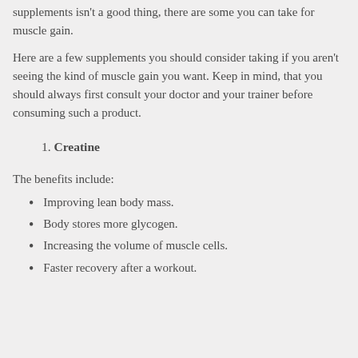supplements isn't a good thing, there are some you can take for muscle gain.
Here are a few supplements you should consider taking if you aren't seeing the kind of muscle gain you want. Keep in mind, that you should always first consult your doctor and your trainer before consuming such a product.
1. Creatine
The benefits include:
Improving lean body mass.
Body stores more glycogen.
Increasing the volume of muscle cells.
Faster recovery after a workout.